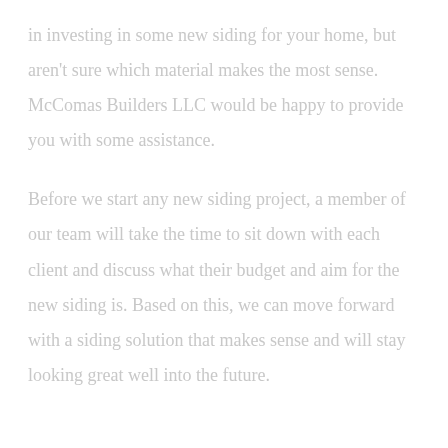in investing in some new siding for your home, but aren't sure which material makes the most sense. McComas Builders LLC would be happy to provide you with some assistance.
Before we start any new siding project, a member of our team will take the time to sit down with each client and discuss what their budget and aim for the new siding is. Based on this, we can move forward with a siding solution that makes sense and will stay looking great well into the future.